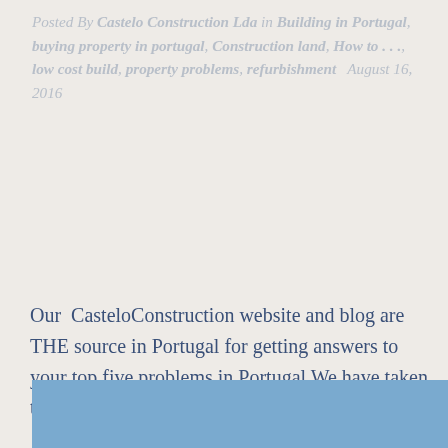Posted By Castelo Construction Lda in Building in Portugal, buying property in portugal, Construction land, How to . . ., low cost build, property problems, refurbishment  August 16, 2016
Our  CasteloConstruction website and blog are THE source in Portugal for getting answers to your top five problems in Portugal We have taken the top…
Continue Read
[Figure (other): Blue rectangular strip at the bottom of the page, partially visible]